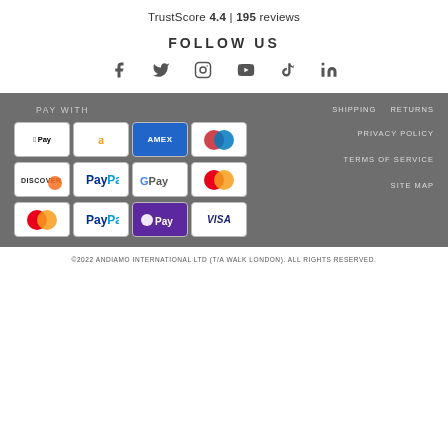TrustScore 4.4 | 195 reviews
FOLLOW US
[Figure (infographic): Social media icons: Facebook, Twitter, Instagram, YouTube, TikTok, LinkedIn]
PAY WITH
[Figure (infographic): Payment method logos: Apple Pay, Amazon Pay, American Express, Diners Club, Discover, PayPal, Google Pay, Mastercard, Mastercard, PayPal, Shop Pay, Visa]
SHIPPING   RETURNS   PRIVACY POLICY   TERMS OF SERVICE   SITE MAP
©2022 ANDIAMO INTERNATIONAL LTD (T/A WALK LONDON). ALL RIGHTS RESERVED.